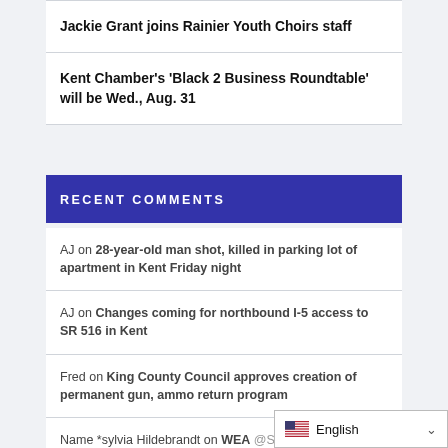Jackie Grant joins Rainier Youth Choirs staff
Kent Chamber's 'Black 2 Business Roundtable' will be Wed., Aug. 31
RECENT COMMENTS
AJ on 28-year-old man shot, killed in parking lot of apartment in Kent Friday night
AJ on Changes coming for northbound I-5 access to SR 516 in Kent
Fred on King County Council approves creation of permanent gun, ammo return program
Name *sylvia Hildebrandt on WEAW @SeattleWXGuy warns of ur...